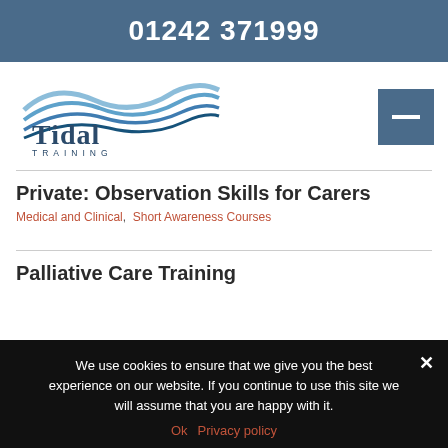01242 371999
[Figure (logo): Tidal Training logo with wave graphic and tagline 'breathing a new wave in training']
Private: Observation Skills for Carers
Medical and Clinical,  Short Awareness Courses
Palliative Care Training
We use cookies to ensure that we give you the best experience on our website. If you continue to use this site we will assume that you are happy with it.
Ok  Privacy policy